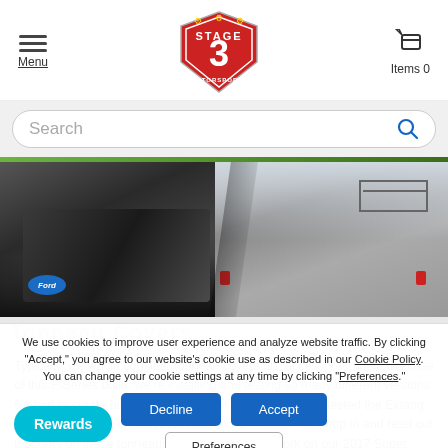Menu | Stage 3 Motorsports | Items 0
Search
[Figure (photo): Split photo showing two views of a Ford Super Duty truck with tonneau cover on the left and a rack-equipped truck on the right]
We use cookies to improve user experience and analyze website traffic. By clicking "Accept," you agree to our website's cookie use as described in our Cookie Policy. You can change your cookie settings at any time by clicking "Preferences."
Typically, we would consider tonneau covers an "accessory", but in the case of this F-Series build, we're installing and testing so many different versions we had to create an entire category for it! We've already tested the Extang Solid Fold 2.0, the Undercover Flex and a Preferences jump in and read our thoughts on these tonneaus as we put them to work on our 2017 Super Duty build. MORE INFO ON
Rewards